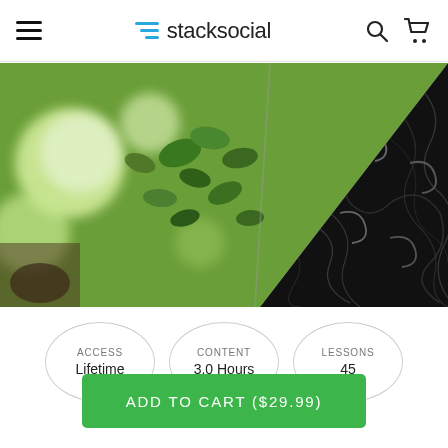stacksocial
[Figure (photo): Split image: left side shows green bokeh foliage in natural light, right side shows dark tangled black rubber bands or hooks on dark background, divided diagonally.]
ACCESS Lifetime
CONTENT 3.0 Hours
LESSONS 45
ADD TO CART ($29.99)